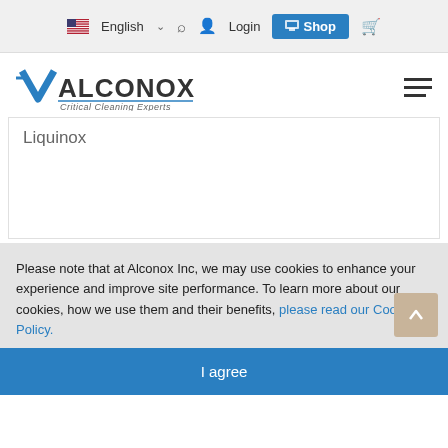English  Login  Shop
[Figure (logo): Alconox logo with checkmark V shape in blue and text 'ALCONOX' with tagline 'Critical Cleaning Experts']
Liquinox
Please note that at Alconox Inc, we may use cookies to enhance your experience and improve site performance. To learn more about our cookies, how we use them and their benefits, please read our Cookie Policy.
I agree